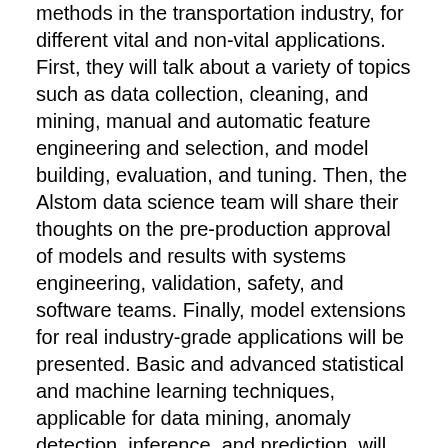methods in the transportation industry, for different vital and non-vital applications. First, they will talk about a variety of topics such as data collection, cleaning, and mining, manual and automatic feature engineering and selection, and model building, evaluation, and tuning. Then, the Alstom data science team will share their thoughts on the pre-production approval of models and results with systems engineering, validation, safety, and software teams. Finally, model extensions for real industry-grade applications will be presented. Basic and advanced statistical and machine learning techniques, applicable for data mining, anomaly detection, inference, and prediction, will be demonstrated using python.
What you will learn?
Exploratory data analysis
Statistical data analysis
Machine Learning techniques
Feature engineering
Basics of python language, including pandas and scikit-learn